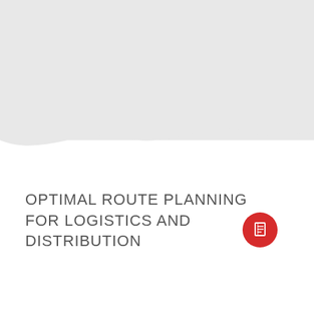[Figure (illustration): Cover page with a light gray top band and bottom band, separated from white middle section by a decorative wave shape. A red circular icon with a book/document symbol appears in the lower right area.]
OPTIMAL ROUTE PLANNING FOR LOGISTICS AND DISTRIBUTION